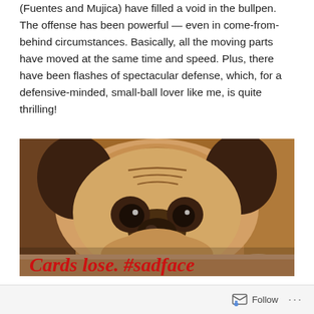(Fuentes and Mujica) have filled a void in the bullpen. The offense has been powerful — even in come-from-behind circumstances. Basically, all the moving parts have moved at the same time and speed. Plus, there have been flashes of spectacular defense, which, for a defensive-minded, small-ball lover like me, is quite thrilling!
[Figure (photo): Close-up photo of a sad-looking pug dog resting its chin down, with text overlay reading 'Cards lose. #sadface' in red serif font at the bottom of the image.]
Follow ...